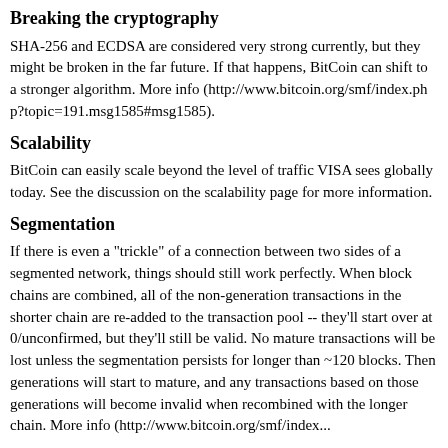Breaking the cryptography
SHA-256 and ECDSA are considered very strong currently, but they might be broken in the far future. If that happens, BitCoin can shift to a stronger algorithm. More info (http://www.bitcoin.org/smf/index.php?topic=191.msg1585#msg1585).
Scalability
BitCoin can easily scale beyond the level of traffic VISA sees globally today. See the discussion on the scalability page for more information.
Segmentation
If there is even a "trickle" of a connection between two sides of a segmented network, things should still work perfectly. When block chains are combined, all of the non-generation transactions in the shorter chain are re-added to the transaction pool -- they'll start over at 0/unconfirmed, but they'll still be valid. No mature transactions will be lost unless the segmentation persists for longer than ~120 blocks. Then generations will start to mature, and any transactions based on those generations will become invalid when recombined with the longer chain. More info (http://www.bitcoin.org/smf/index...